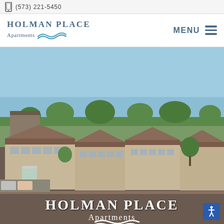(573) 221-5450
[Figure (logo): Holman Place Apartments logo with wave graphic]
MENU
[Figure (photo): Aerial view of Holman Place Apartments complex showing brown-roofed buildings with parking lot and surrounding trees, with Holman Place Apartments logo overlay at bottom]